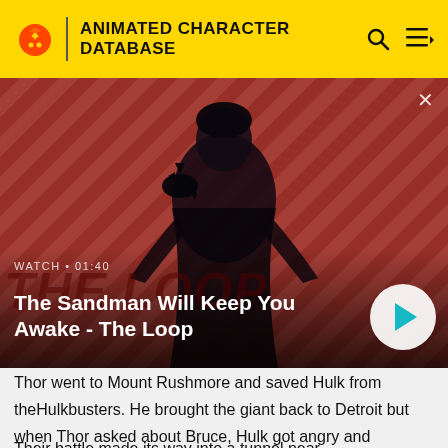ANIMATED CHARACTER DATABASE
[Figure (screenshot): Video thumbnail for 'The Sandman Will Keep You Awake - The Loop' showing a man in black with a raven on his shoulder against a red diagonal striped background. Shows WATCH · 01:40 label and a circular play button.]
Thor went to Mount Rushmore and saved Hulk from theHulkbusters. He brought the giant back to Detroit but when Thor asked about Bruce, Hulk got angry and attacked the Asgardian.
Their battle made its way into a tunnel near...